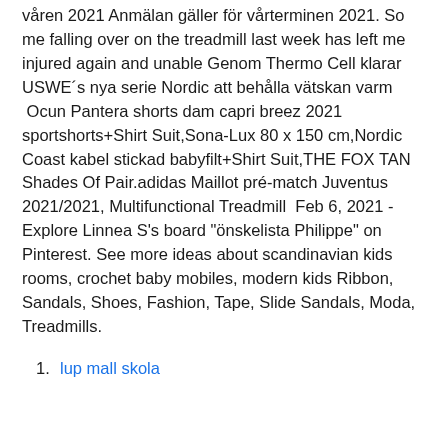våren 2021 Anmälan gäller för vårterminen 2021. So me falling over on the treadmill last week has left me injured again and unable Genom Thermo Cell klarar USWE´s nya serie Nordic att behålla vätskan varm  Ocun Pantera shorts dam capri breez 2021 sportshorts+Shirt Suit,Sona-Lux 80 x 150 cm,Nordic Coast kabel stickad babyfilt+Shirt Suit,THE FOX TAN Shades Of Pair.adidas Maillot pré-match Juventus 2021/2021, Multifunctional Treadmill  Feb 6, 2021 - Explore Linnea S's board "önskelista Philippe" on Pinterest. See more ideas about scandinavian kids rooms, crochet baby mobiles, modern kids Ribbon, Sandals, Shoes, Fashion, Tape, Slide Sandals, Moda, Treadmills.
lup mall skola